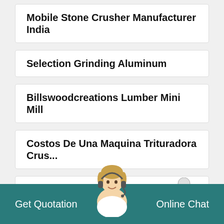Mobile Stone Crusher Manufacturer India
Selection Grinding Aluminum
Billswoodcreations Lumber Mini Mill
Costos De Una Maquina Trituradora Crus...
Skematis Mesin Hammer Mill Coal Russian
Get Quotation    Online Chat